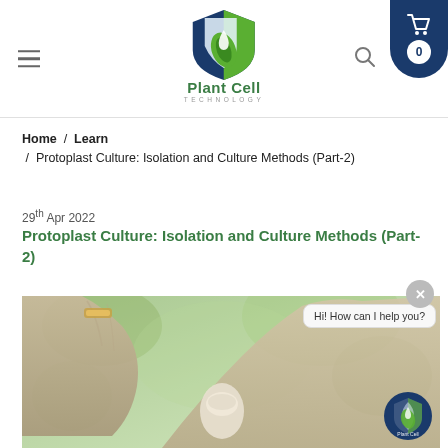Plant Cell Technology — website header with logo, hamburger menu, search icon, and cart (0)
Home /  Learn  /  Protoplast Culture: Isolation and Culture Methods (Part-2)
29th Apr 2022
Protoplast Culture: Isolation and Culture Methods (Part-2)
[Figure (photo): Photograph of gloved hands handling a laboratory sample, with a blurred green background. A chat bubble reads 'Hi! How can I help you?' and a Plant Cell Technology chat icon is visible in the bottom-right corner.]